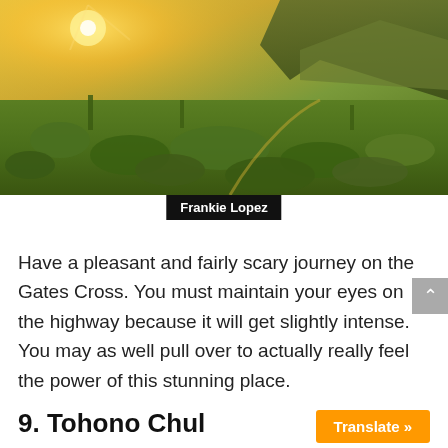[Figure (photo): Wide-angle landscape photo of a desert scrubland at golden hour sunset. Green desert vegetation and saguaro cacti fill the foreground, with rugged mountains in the background and warm golden light streaming from the upper left. A winding road is faintly visible.]
Frankie Lopez
Have a pleasant and fairly scary journey on the Gates Cross. You must maintain your eyes on the highway because it will get slightly intense. You may as well pull over to actually really feel the power of this stunning place.
9. Tohono Chul